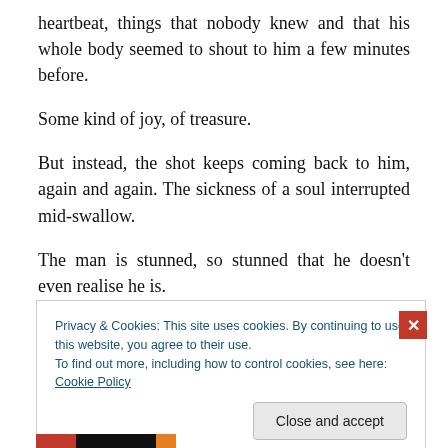heartbeat, things that nobody knew and that his whole body seemed to shout to him a few minutes before.
Some kind of joy, of treasure.
But instead, the shot keeps coming back to him, again and again. The sickness of a soul interrupted mid-swallow.
The man is stunned, so stunned that he doesn't even realise he is.
His daze isn't caused by resentment or sorrow.
Privacy & Cookies: This site uses cookies. By continuing to use this website, you agree to their use.
To find out more, including how to control cookies, see here: Cookie Policy
Close and accept